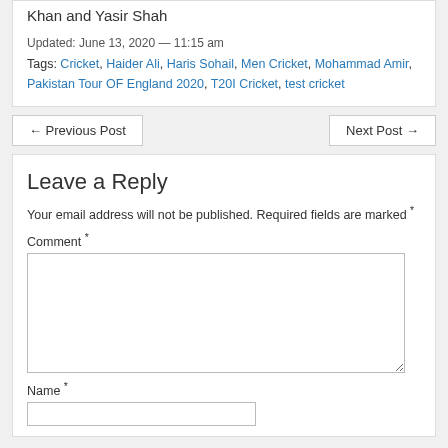Khan and Yasir Shah
Updated: June 13, 2020 — 11:15 am
Tags: Cricket, Haider Ali, Haris Sohail, Men Cricket, Mohammad Amir, Pakistan Tour OF England 2020, T20I Cricket, test cricket
← Previous Post
Next Post →
Leave a Reply
Your email address will not be published. Required fields are marked *
Comment *
Name *